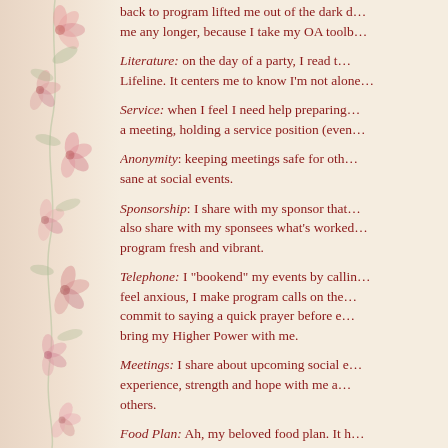back to program lifted me out of the dark d… me any longer, because I take my OA toolb…
Literature: on the day of a party, I read t… Lifeline. It centers me to know I'm not alone…
Service: when I feel I need help preparing… a meeting, holding a service position (even…
Anonymity: keeping meetings safe for oth… sane at social events.
Sponsorship: I share with my sponsor that… also share with my sponsees what's worked… program fresh and vibrant.
Telephone: I "bookend" my events by callin… feel anxious, I make program calls on the… commit to saying a quick prayer before e… bring my Higher Power with me.
Meetings: I share about upcoming social e… experience, strength and hope with me a… others.
Food Plan: Ah, my beloved food plan. It h…